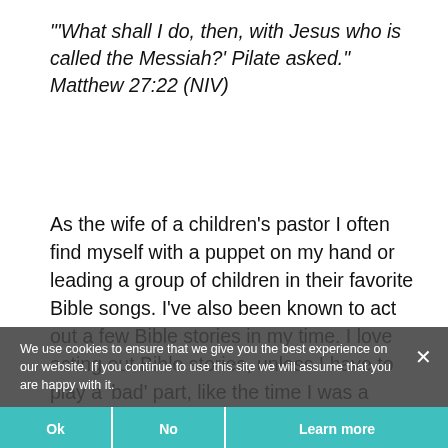"'What shall I do, then, with Jesus who is called the Messiah?' Pilate asked." Matthew 27:22 (NIV)
As the wife of a children's pastor I often find myself with a puppet on my hand or leading a group of children in their favorite Bible songs. I've also been known to act out a few Bible stories in my time. I love acting out Bible stories, unless I have to play a 'bad' part, like the time I was a member of the crowd, crying out to Pilate to crucify Jesus. Tears filled my eyes as angry shouts escaped my lips, "Crucify him!"
We use cookies to ensure that we give you the best experience on our website. If you continue to use this site we will assume that you are happy with it.